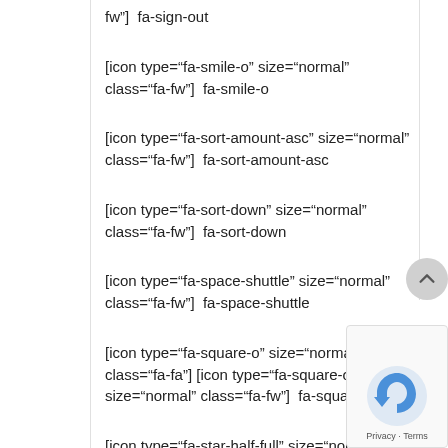fw"]  fa-sign-out
[icon type="fa-smile-o" size="normal" class="fa-fw"]  fa-smile-o
[icon type="fa-sort-amount-asc" size="normal" class="fa-fw"]  fa-sort-amount-asc
[icon type="fa-sort-down" size="normal" class="fa-fw"]  fa-sort-down
[icon type="fa-space-shuttle" size="normal" class="fa-fw"]  fa-space-shuttle
[icon type="fa-square-o" size="normal" class="fa-fw"]  fa-square-o
[icon type="fa-star-half-full" size="normal" class="fa-fw"]  fa-star-half-full